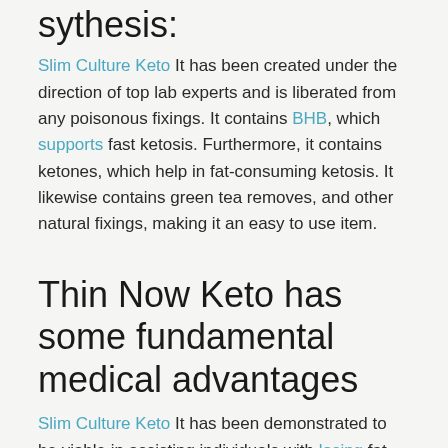sythesis:
Slim Culture Keto It has been created under the direction of top lab experts and is liberated from any poisonous fixings. It contains BHB, which supports fast ketosis. Furthermore, it contains ketones, which help in fat-consuming ketosis. It likewise contains green tea removes, and other natural fixings, making it an easy to use item.
Thin Now Keto has some fundamental medical advantages
Slim Culture Keto It has been demonstrated to be viable in assisting individuals with losing fat rapidly and for a more limited time frame. There is compelling reason need to do any kind of serious exercises. The actual item is finished and will help you in getting more fit faster by supporting regular